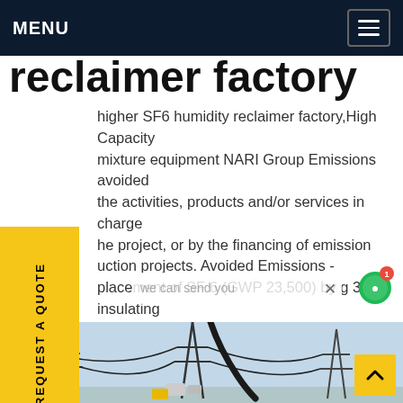MENU
reclaimer factory
higher SF6 humidity reclaimer factory,High Capacity mixture equipment NARI Group Emissions avoided the activities, products and/or services in charge the project, or by the financing of emission uction projects. Avoided Emissions - placement of SF 6 (GWP 23,500) by g 3 insulating switching gas (GWP 408) in high voltage ipment.Get price
[Figure (photo): High voltage electrical substation with transmission towers, cables and equipment against a blue sky]
we can send you